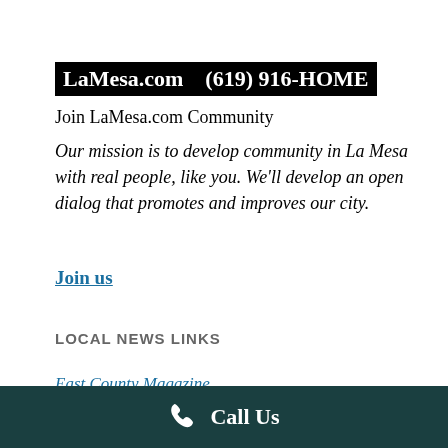LaMesa.com    (619) 916-HOME
Join LaMesa.com Community
Our mission is to develop community in La Mesa with real people, like you. We'll develop an open dialog that promotes and improves our city.
Join us
LOCAL NEWS LINKS
East County Magazine
La Mesa Courier
The East County Californian
The East County Herald
The San Diego Tribune
Call Us